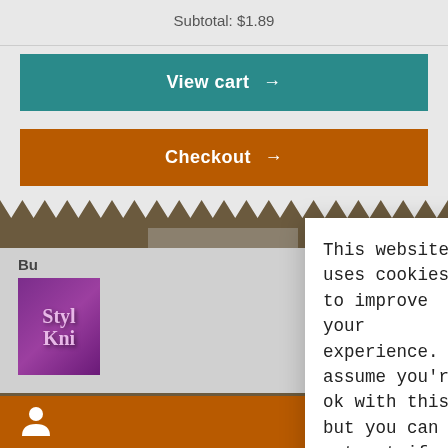Subtotal: $1.89
View cart →
Checkout →
Bu
[Figure (screenshot): Book thumbnail with purple background showing stylized text 'Styli Kni']
This website uses cookies to improve your experience. I assume you're ok with this, but you can opt-out if you wish. Cookie settings
ACCEPT
[Figure (illustration): Person silhouette icon in orange footer bar]